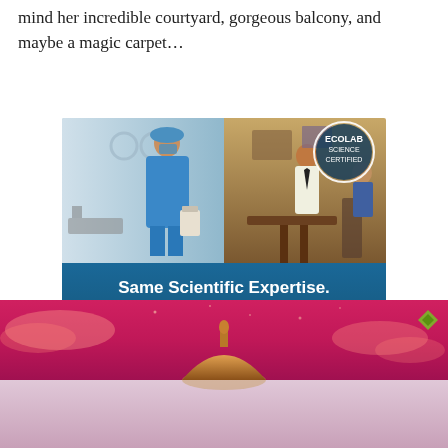mind her incredible courtyard, gorgeous balcony, and maybe a magic carpet…
[Figure (photo): Ecolab Science Certified advertisement showing a doctor in blue scrubs cleaning a medical facility on the left, and a restaurant scene on the right, with the Ecolab Science Certified seal. Blue section below reads: Same Scientific Expertise. Different Place. Look for the Ecolab Science Certified™ seal. Learn More button.]
[Figure (illustration): Aladdin-themed animated illustration with pink/magenta sky, clouds, and a golden dome/minaret at the bottom center. Small diamond shape icon in upper right corner.]